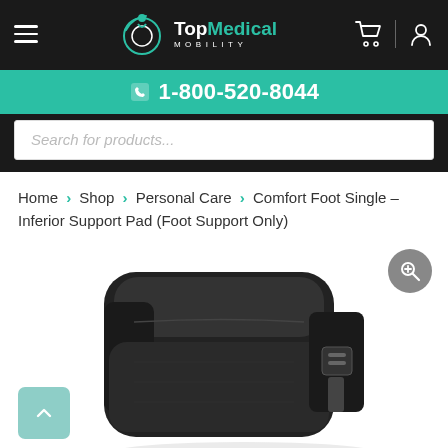Top Medical Mobility — 1-800-520-8044
Search for products...
Home > Shop > Personal Care > Comfort Foot Single – Inferior Support Pad (Foot Support Only)
[Figure (photo): Black padded foot support pad with straps — Comfort Foot Single Inferior Support Pad product photo]